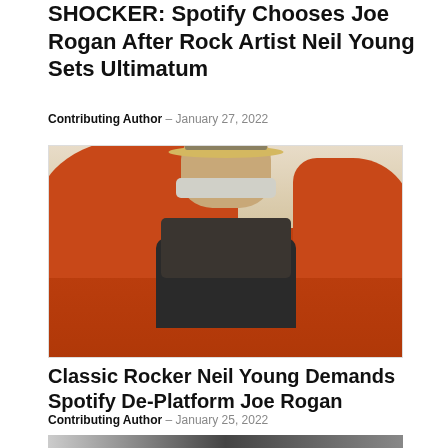SHOCKER: Spotify Chooses Joe Rogan After Rock Artist Neil Young Sets Ultimatum
Contributing Author – January 27, 2022
[Figure (photo): Photo of an older man with gray hair and beard wearing a straw fedora hat and plaid shirt, seated on an orange couch]
Classic Rocker Neil Young Demands Spotify De-Platform Joe Rogan
Contributing Author – January 25, 2022
[Figure (photo): Partial view of another photo at the bottom of the page]